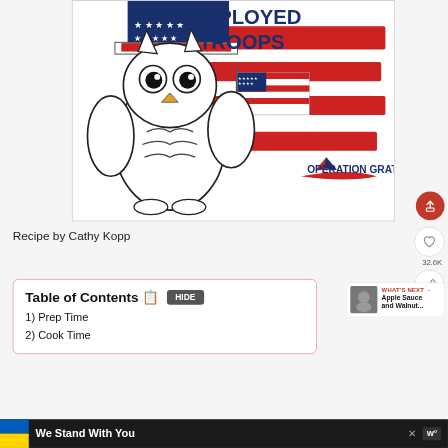[Figure (illustration): Operation Gratitude illustrated image with an owl wearing Uncle Sam hat holding a US flag, with American flag background and text 'TO DEPLOYED TROOPS' and 'OPERATION GRATITUDE' logo]
Recipe by Cathy Kopp
Table of Contents 📋
1) Prep Time
2) Cook Time
We Stand With You